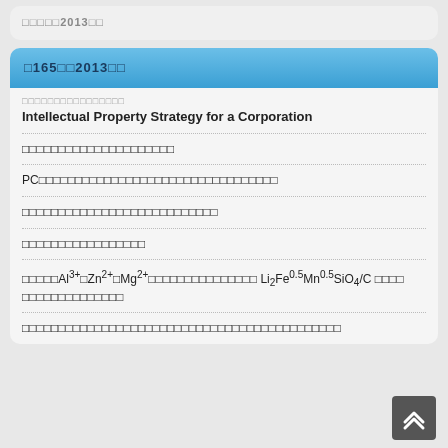□□□□□2013□□
□165□□2013□□
□□□□□□□□□□□□□□□□
Intellectual Property Strategy for a Corporation
□□□□□□□□□□□□□□□□□□□□□
PC□□□□□□□□□□□□□□□□□□□□□□□□□□□□□□□□□□
□□□□□□□□□□□□□□□□□□□□□□□□□□□
□□□□□□□□□□□□□□□□□
□□□□□Al³⁺□Zn²⁺□Mg²⁺□□□□□□□□□□□□□□□ Li₂Fe0.5Mn0.5SiO₄/C □□□□ □□□□□□□□□□□□□
□□□□□□□□□□□□□□□□□□□□□□□□□□□□□□□□□□□□□□□□□□□□